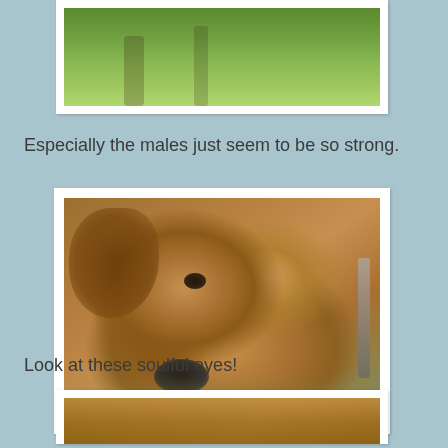[Figure (photo): Top portion of a dog photo showing grass and tree trunk]
Especially the males just seem to be so strong.
[Figure (photo): Close-up photo of a Rhodesian Ridgeback dog lying on grass, wearing a leash, looking at camera with soulful brown eyes]
Look at these soulful eyes!
[Figure (photo): Bottom portion of another dog photo, partially visible]